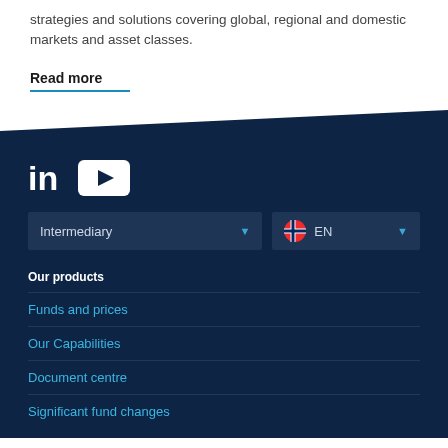strategies and solutions covering global, regional and domestic markets and asset classes.
Read more
[Figure (infographic): LinkedIn and YouTube social media icons]
Intermediary dropdown selector
EN language selector with Norwegian flag
Our products
Funds and prices
Our Capabilities
Document centre
Significant fund changes